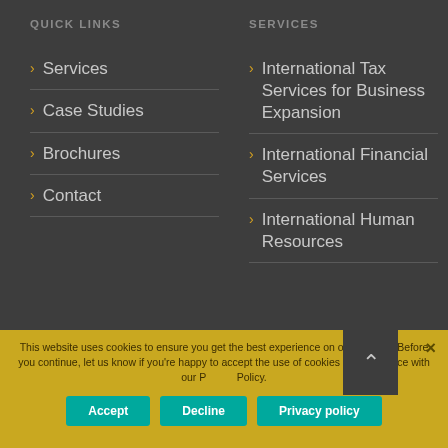QUICK LINKS
SERVICES
Services
Case Studies
Brochures
Contact
International Tax Services for Business Expansion
International Financial Services
International Human Resources
This website uses cookies to ensure you get the best experience on our website. Before you continue, let us know if you're happy to accept the use of cookies in accordance with our Privacy Policy.
Accept
Decline
Privacy policy